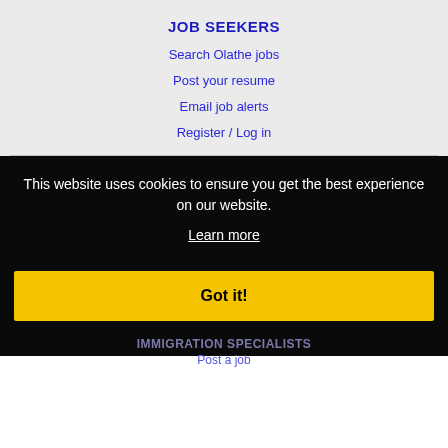JOB SEEKERS
Search Olathe jobs
Post your resume
Email job alerts
Register / Log in
EMPLOYERS
This website uses cookies to ensure you get the best experience on our website.
Learn more
Got it!
IMMIGRATION SPECIALISTS